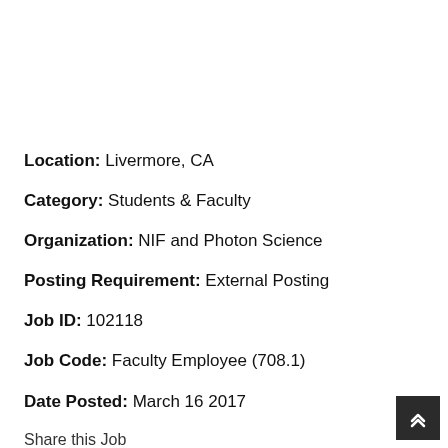Location: Livermore, CA
Category: Students & Faculty
Organization: NIF and Photon Science
Posting Requirement: External Posting
Job ID: 102118
Job Code: Faculty Employee (708.1)
Date Posted: March 16 2017
Share this Job